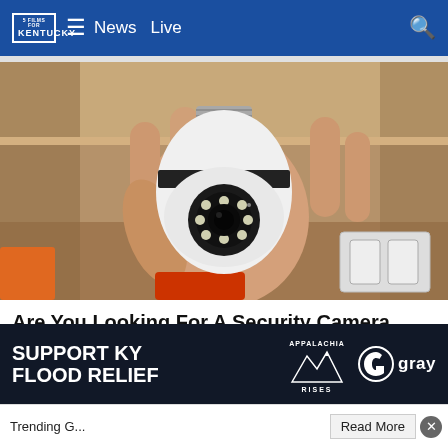News  Live
[Figure (photo): A hand holding a white light-bulb-shaped security camera with a circular lens surrounded by LED lights and a screw base at the top, photographed against a wooden shelf background with an electrical outlet visible in the background.]
Are You Looking For A Security Camera That Is Easy To Install?
Trending G...  Read More
[Figure (infographic): Advertisement banner: SUPPORT KY FLOOD RELIEF with Appalachia Rises and gray TV network logos]